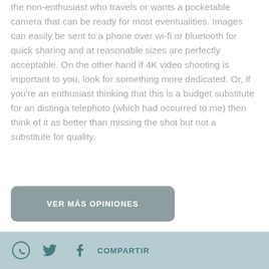the non-enthusiast who travels or wants a pocketable camera that can be ready for most eventualities. Images can easily be sent to a phone over wi-fi or bluetooth for quick sharing and at reasonable sizes are perfectly acceptable. On the other hand if 4K video shooting is important to you, look for something more dedicated. Or, if you're an enthusiast thinking that this is a budget substitute for an distinga telephoto (which had occurred to me) then think of it as better than missing the shot but not a substitute for quality.
[Figure (other): Button labeled VER MÁS OPINIONES (View More Opinions) with rounded corners and gray background]
COMPARTIR